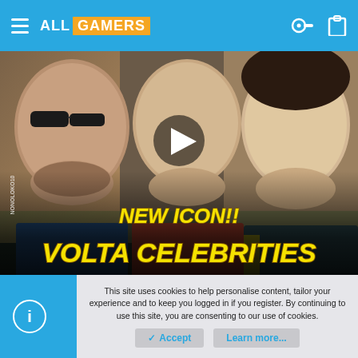ALL GAMERS
[Figure (screenshot): Video thumbnail showing three game characters from FIFA Volta mode. Left character wears sunglasses, center character has a play button overlay. Text reads 'NEW ICON!! VOLTA CELEBRITIES' in yellow italic bold font.]
↩ Reply
This site uses cookies to help personalise content, tailor your experience and to keep you logged in if you register. By continuing to use this site, you are consenting to our use of cookies.
✓ Accept
Learn more...